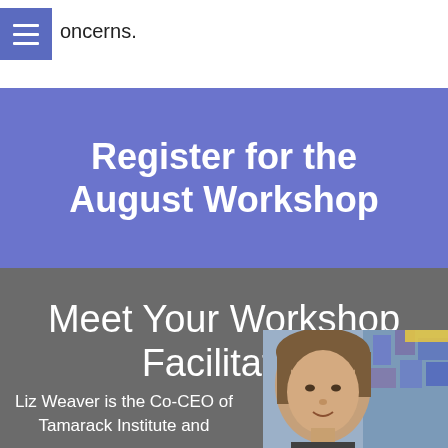oncerns.
Register for the August Workshop
Meet Your Workshop Facilitator
Liz Weaver is the Co-CEO of Tamarack Institute and
[Figure (photo): Headshot photo of Liz Weaver, a woman with short grey-brown hair, smiling, with a colorful mural in the background]